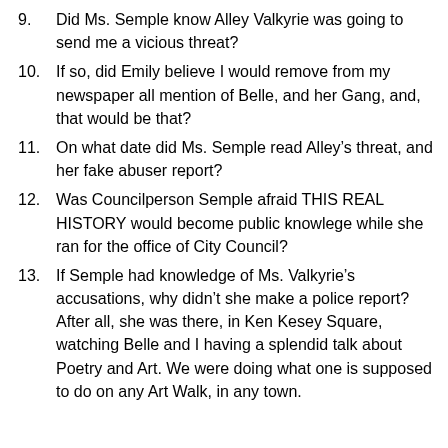9. Did Ms. Semple know Alley Valkyrie was going to send me a vicious threat?
10. If so, did Emily believe I would remove from my newspaper all mention of Belle, and her Gang, and, that would be that?
11. On what date did Ms. Semple read Alley’s threat, and her fake abuser report?
12. Was Councilperson Semple afraid THIS REAL HISTORY would become public knowlege while she ran for the office of City Council?
13. If Semple had knowledge of Ms. Valkyrie’s accusations, why didn’t she make a police report? After all, she was there, in Ken Kesey Square, watching Belle and I having a splendid talk about Poetry and Art. We were doing what one is supposed to do on any Art Walk, in any town.